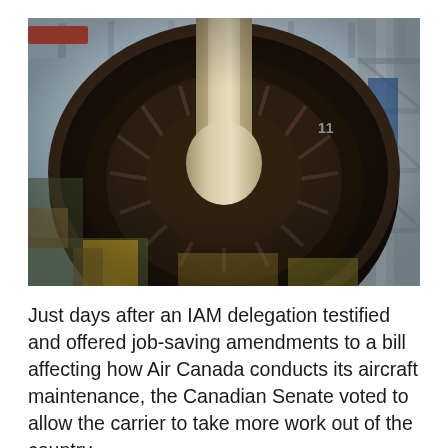[Figure (photo): Close-up view from below of a jet aircraft engine undercarriage in a maintenance hangar, showing the turbine blades and circular engine cowling, with industrial scaffolding and hangar interior visible in the background.]
Just days after an IAM delegation testified and offered job-saving amendments to a bill affecting how Air Canada conducts its aircraft maintenance, the Canadian Senate voted to allow the carrier to take more work out of the country.